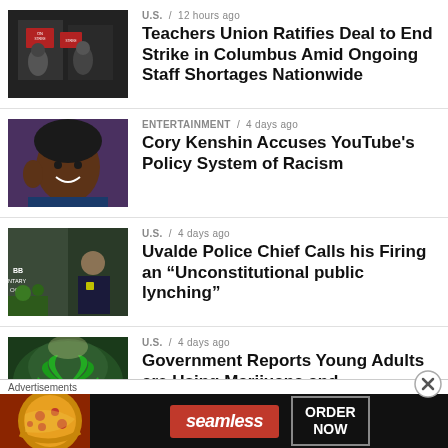[Figure (photo): Protesters holding signs on strike]
U.S. / 12 hours ago
Teachers Union Ratifies Deal to End Strike in Columbus Amid Ongoing Staff Shortages Nationwide
[Figure (photo): Smiling young Black man with curly hair]
ENTERTAINMENT / 4 days ago
Cory Kenshin Accuses YouTube's Policy System of Racism
[Figure (photo): Police officer outside Robb Elementary school memorial]
U.S. / 4 days ago
Uvalde Police Chief Calls his Firing an "Unconstitutional public lynching"
[Figure (photo): Cannabis marijuana leaf with green smoke background]
U.S. / 4 days ago
Government Reports Young Adults are Using Marijuana and Hallucinogens at Highest Rate on Record
Advertisements
[Figure (photo): Seamless pizza advertisement: ORDER NOW]